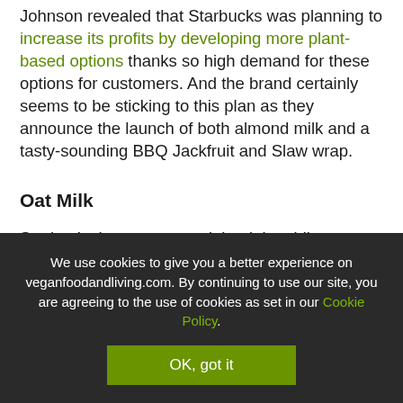Johnson revealed that Starbucks was planning to increase its profits by developing more plant-based options thanks so high demand for these options for customers. And the brand certainly seems to be sticking to this plan as they announce the launch of both almond milk and a tasty-sounding BBQ Jackfruit and Slaw wrap.
Oat Milk
Starbucks has announced that it is adding oat milk to its menus in the UK, giving customers the option of choosing between oat, almond, coconut and soy milk for their dairy-free drinks.
We use cookies to give you a better experience on veganfoodandliving.com. By continuing to use our site, you are agreeing to the use of cookies as set in our Cookie Policy.